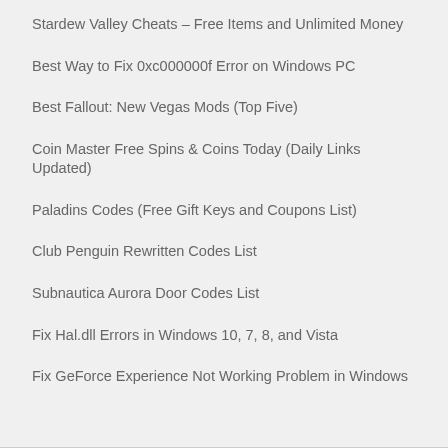Stardew Valley Cheats – Free Items and Unlimited Money
Best Way to Fix 0xc000000f Error on Windows PC
Best Fallout: New Vegas Mods (Top Five)
Coin Master Free Spins & Coins Today (Daily Links Updated)
Paladins Codes (Free Gift Keys and Coupons List)
Club Penguin Rewritten Codes List
Subnautica Aurora Door Codes List
Fix Hal.dll Errors in Windows 10, 7, 8, and Vista
Fix GeForce Experience Not Working Problem in Windows